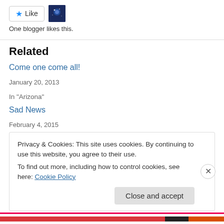[Figure (illustration): Like button with blue star and text 'Like', next to a small avatar thumbnail showing a night sky/space image]
One blogger likes this.
Related
Come one come all!
January 20, 2013
In "Arizona"
Sad News
February 4, 2015
In "California"
Privacy & Cookies: This site uses cookies. By continuing to use this website, you agree to their use.
To find out more, including how to control cookies, see here: Cookie Policy
Close and accept